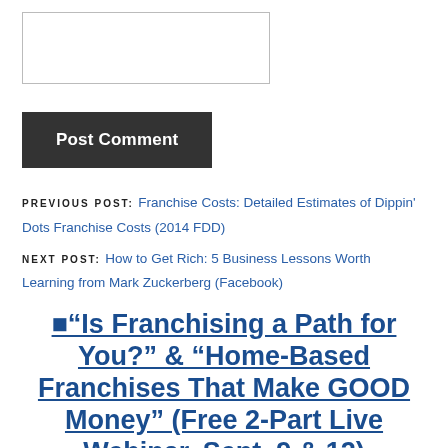[Figure (other): Textarea input box for comment]
Post Comment
PREVIOUS POST: Franchise Costs: Detailed Estimates of Dippin' Dots Franchise Costs (2014 FDD)
NEXT POST: How to Get Rich: 5 Business Lessons Worth Learning from Mark Zuckerberg (Facebook)
■“Is Franchising a Path for You?” & “Home-Based Franchises That Make GOOD Money” (Free 2-Part Live Webinar, Sept. 9 & 12)